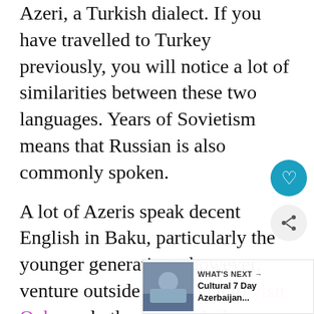Azeri, a Turkish dialect. If you have travelled to Turkey previously, you will notice a lot of similarities between these two languages. Years of Sovietism means that Russian is also commonly spoken.

A lot of Azeris speak decent English in Baku, particularly the younger generations, however, venture outside the capital to visit Quba and other more rural places and you will not find anyone that speaks English, nor has even heard of it.